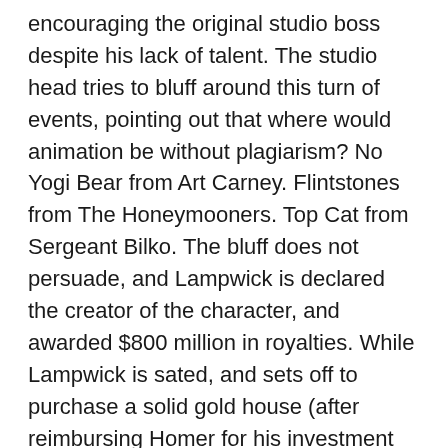encouraging the original studio boss despite his lack of talent. The studio head tries to bluff around this turn of events, pointing out that where would animation be without plagiarism? No Yogi Bear from Art Carney. Flintstones from The Honeymooners. Top Cat from Sergeant Bilko. The bluff does not persuade, and Lampwick is declared the creator of the character, and awarded $800 million in royalties. While Lampwick is sated, and sets off to purchase a solid gold house (after reimbursing Homer for his investment plus a couple of bucks profit for his troubles), the victory is shallow for Bart, as the bankrupted Itchy and Scratchy studio is forced to close.
Bart and Lisa, and the rest of Springfield, are left to watch the educational fare left to fill the air time of the Krusty the Clown show (a dead-on Schoolhouse Rock parody entitled “I’m Just an Amendment”). Thry bury their heads in law books day and night for a solution, to no avail.